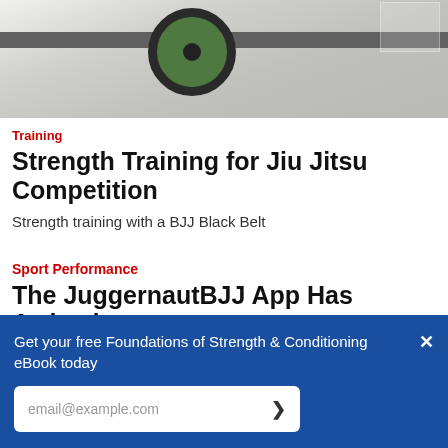[Figure (photo): Photo of barbell weight plates in a gym setting]
Training
Strength Training for Jiu Jitsu Competition
Strength training with a BJJ Black Belt
Sport Performance
The JuggernautBJJ App Has Arrived
Take your performance on the mats to the next level!
Get your free Foundations of Strength & Conditioning eBook today
email@example.com